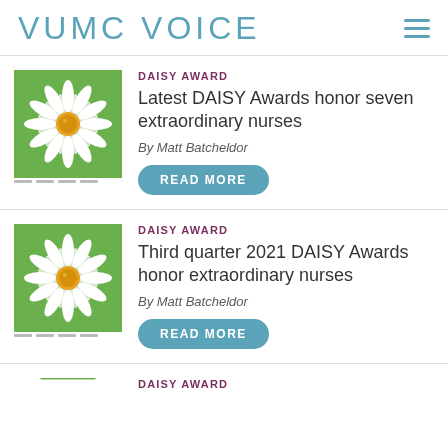VUMC VOICE
DAISY AWARD
Latest DAISY Awards honor seven extraordinary nurses
By Matt Batcheldor
READ MORE
DAISY AWARD
Third quarter 2021 DAISY Awards honor extraordinary nurses
By Matt Batcheldor
READ MORE
DAISY AWARD
[Figure (illustration): Daisy flower on green background (card 1)]
[Figure (illustration): Daisy flower on green background (card 2)]
[Figure (illustration): Daisy flower on green background (card 3, partial)]